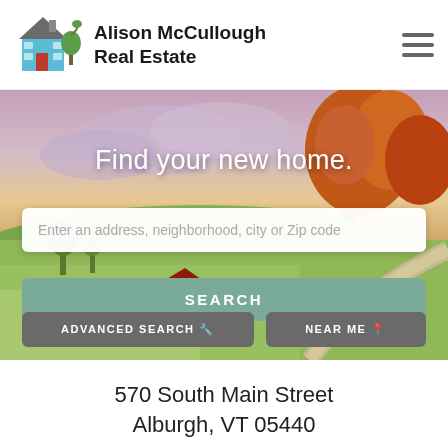[Figure (logo): Alison McCullough Real Estate logo with illustrated house and tree]
Alison McCullough
Real Estate
[Figure (photo): Hero background photo of countryside with autumn trees, rolling green fields, a red barn, winding road, and dramatic sky]
Find your new home.
Enter an address, neighborhood, city or Zip code
SEARCH
ADVANCED SEARCH
NEAR ME
570 South Main Street
Alburgh, VT 05440
Sale Price: $295,000